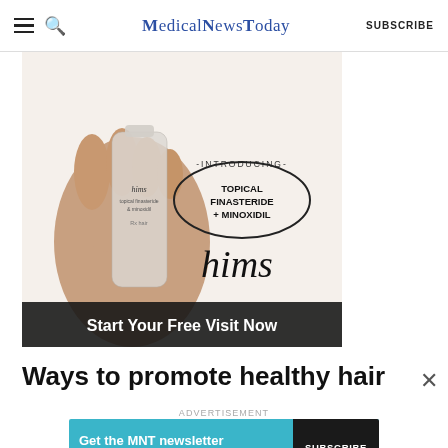MedicalNewsToday  SUBSCRIBE
[Figure (photo): Advertisement for hims topical finasteride + minoxidil hair product. A hand holds a frosted bottle labeled 'hims topical finasteride & minoxidil Rx hair'. Text reads '-INTRODUCING- TOPICAL FINASTERIDE + MINOXIDIL' in an oval, large 'hims' branding, and 'Start Your Free Visit Now' on a dark banner at the bottom.]
Ways to promote healthy hair
ADVERTISEMENT
[Figure (other): MNT newsletter subscription banner. Blue background with text 'Get the MNT newsletter' and 'Subscribe to receive our top news articles.' with a dark SUBSCRIBE button on the right.]